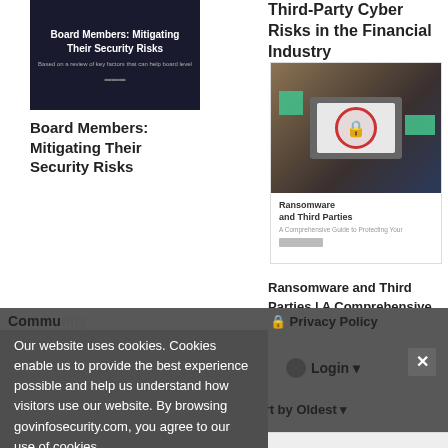[Figure (illustration): Book cover thumbnail: 'Board Members: Mitigating Their Security Risks' — dark background with white text and a logo]
Board Members: Mitigating Their Security Risks
Third-Party Cyber Risks in the Financial Industry
[Figure (illustration): Thumbnail image of a laptop with a red lock icon on screen, green accent squares, and text 'Ransomware and Third Parties' on a white panel below]
Ransomware and Third Parties | A Comprehensive Guide to Protecting Your Organization from This Growing Threat
Our website uses cookies. Cookies enable us to provide the best experience possible and help us understand how visitors use our website. By browsing govinfosecurity.com, you agree to our use of cookies.
Community
🔒 Privacy Policy
Login ▾
♡ Favorite
Sort by Oldest ▾